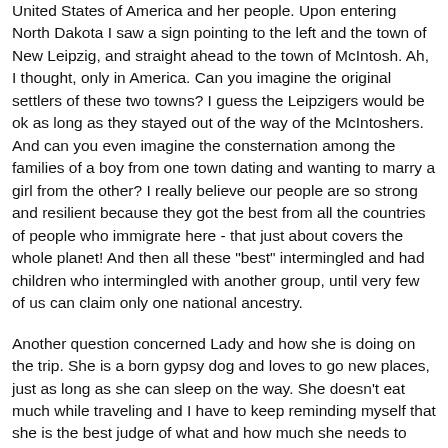United States of America and her people. Upon entering North Dakota I saw a sign pointing to the left and the town of New Leipzig, and straight ahead to the town of McIntosh. Ah, I thought, only in America. Can you imagine the original settlers of these two towns? I guess the Leipzigers would be ok as long as they stayed out of the way of the McIntoshers. And can you even imagine the consternation among the families of a boy from one town dating and wanting to marry a girl from the other? I really believe our people are so strong and resilient because they got the best from all the countries of people who immigrate here - that just about covers the whole planet! And then all these "best" intermingled and had children who intermingled with another group, until very few of us can claim only one national ancestry.
Another question concerned Lady and how she is doing on the trip. She is a born gypsy dog and loves to go new places, just as long as she can sleep on the way. She doesn't eat much while traveling and I have to keep reminding myself that she is the best judge of what and how much she needs to eat, and just provide the food in case she wants it and plenty of water.